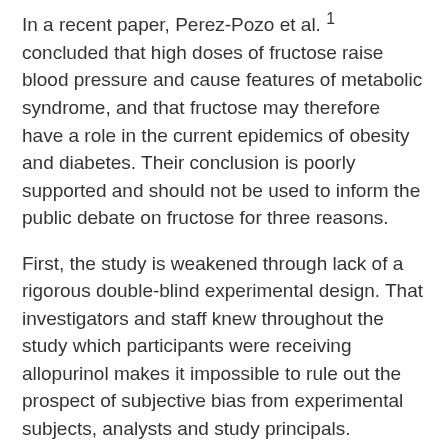In a recent paper, Perez-Pozo et al. 1 concluded that high doses of fructose raise blood pressure and cause features of metabolic syndrome, and that fructose may therefore have a role in the current epidemics of obesity and diabetes. Their conclusion is poorly supported and should not be used to inform the public debate on fructose for three reasons.
First, the study is weakened through lack of a rigorous double-blind experimental design. That investigators and staff knew throughout the study which participants were receiving allopurinol makes it impossible to rule out the prospect of subjective bias from experimental subjects, analysts and study principals.
Second, the experimental design lacked a proper control. The authors administered fructose±allopurinol to human subjects to test the hypothesis that excessive fructose intake can induce the features of metabolic syndrome and that the [text continues]